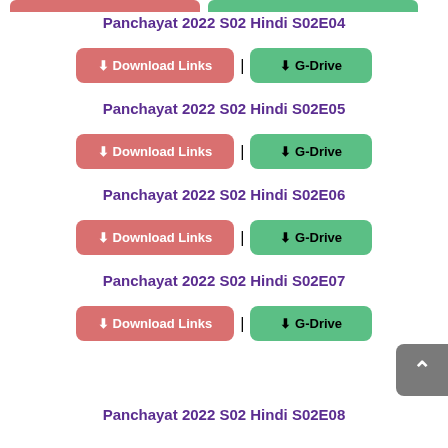Panchayat 2022 S02 Hindi S02E04
⬇ Download Links | ⬇ G-Drive
Panchayat 2022 S02 Hindi S02E05
⬇ Download Links | ⬇ G-Drive
Panchayat 2022 S02 Hindi S02E06
⬇ Download Links | ⬇ G-Drive
Panchayat 2022 S02 Hindi S02E07
⬇ Download Links | ⬇ G-Drive
Panchayat 2022 S02 Hindi S02E08